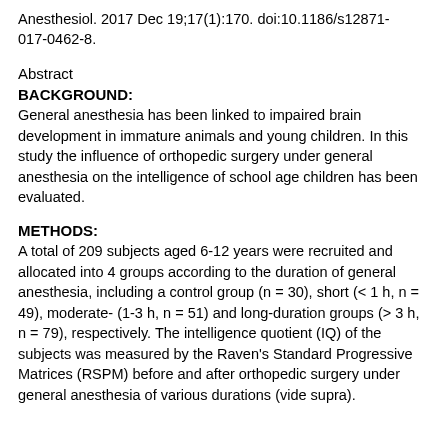Anesthesiol. 2017 Dec 19;17(1):170. doi:10.1186/s12871-017-0462-8.
Abstract
BACKGROUND:
General anesthesia has been linked to impaired brain development in immature animals and young children. In this study the influence of orthopedic surgery under general anesthesia on the intelligence of school age children has been evaluated.
METHODS:
A total of 209 subjects aged 6-12 years were recruited and allocated into 4 groups according to the duration of general anesthesia, including a control group (n = 30), short (< 1 h, n = 49), moderate- (1-3 h, n = 51) and long-duration groups (> 3 h, n = 79), respectively. The intelligence quotient (IQ) of the subjects was measured by the Raven's Standard Progressive Matrices (RSPM) before and after orthopedic surgery under general anesthesia of various durations (vide supra).